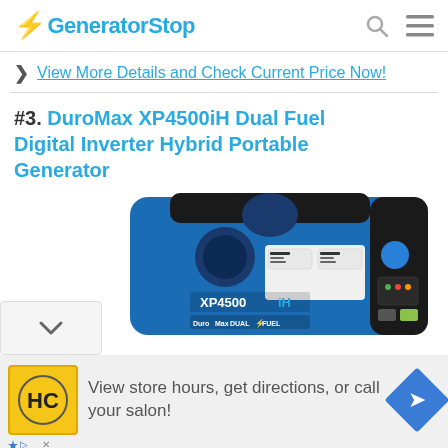GeneratorStop
View More Details and Check Current Price Now!
#3. DuroMax XP4500iH Dual Fuel Digital Inverter Hybrid Portable Generator
[Figure (photo): DuroMax XP4500iH dual fuel portable inverter generator, blue and black, front panel showing XP4500iH branding and DuroMax DUAL FUEL labels with control panel]
View store hours, get directions, or call your salon!